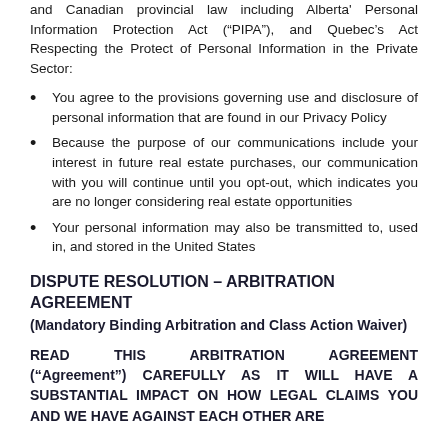and Canadian provincial law including Alberta' Personal Information Protection Act (“PIPA”), and Quebec’s Act Respecting the Protect of Personal Information in the Private Sector:
You agree to the provisions governing use and disclosure of personal information that are found in our Privacy Policy
Because the purpose of our communications include your interest in future real estate purchases, our communication with you will continue until you opt-out, which indicates you are no longer considering real estate opportunities
Your personal information may also be transmitted to, used in, and stored in the United States
DISPUTE RESOLUTION – ARBITRATION AGREEMENT
(Mandatory Binding Arbitration and Class Action Waiver)
READ THIS ARBITRATION AGREEMENT (“Agreement”) CAREFULLY AS IT WILL HAVE A SUBSTANTIAL IMPACT ON HOW LEGAL CLAIMS YOU AND WE HAVE AGAINST EACH OTHER ARE